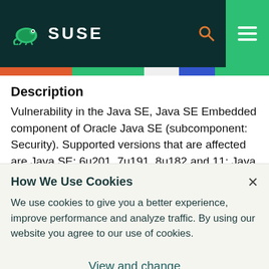SUSE
Description
Vulnerability in the Java SE, Java SE Embedded component of Oracle Java SE (subcomponent: Security). Supported versions that are affected are Java SE: 6u201, 7u191, 8u182 and 11; Java SE Embedded: 8u181. Difficult to exploit vulnerability
How We Use Cookies
We use cookies to give you a better experience, improve performance and analyze traffic. By using our website you agree to our use of cookies.
View and change cookie preferences >